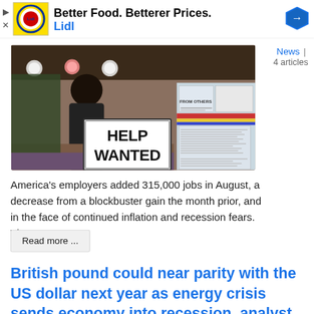[Figure (advertisement): Lidl grocery store advertisement banner with yellow logo and bold text 'Better Food. Betterel Prices. Lidl' and a blue navigation arrow icon on the right]
[Figure (photo): Photograph of a restaurant or outdoor establishment with a person in the background and a 'HELP WANTED' sign in the foreground, with additional posted notices visible to the right]
News | 4 articles
America's employers added 315,000 jobs in August, a decrease from a blockbuster gain the month prior, and in the face of continued inflation and recession fears. The report...
Read more ...
British pound could near parity with the US dollar next year as energy crisis sends economy into recession, analyst